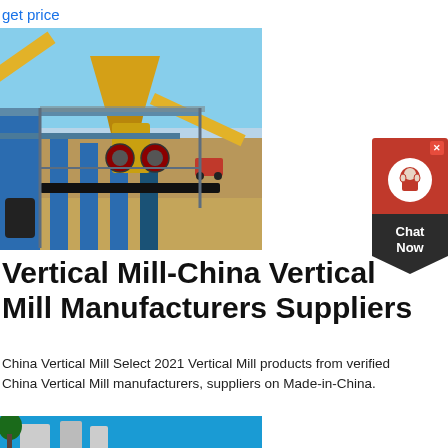get price
[Figure (photo): Industrial vertical mill machinery at a mining/quarrying site — large yellow cone crusher with blue steel frame, conveyor belts, and sandy outdoor terrain under blue sky]
[Figure (other): Customer service chat widget with red header containing headset icon, dark triangular bottom section with 'Chat Now' text, and close (X) button]
Vertical Mill-China Vertical Mill Manufacturers Suppliers
China Vertical Mill Select 2021 Vertical Mill products from verified China Vertical Mill manufacturers, suppliers on Made-in-China.
get price
[Figure (photo): Partial view of industrial facility building with blue sky background]